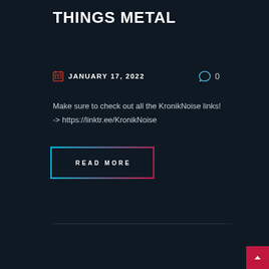THINGS METAL
JANUARY 17, 2022   0
Make sure to check out all the KronikNoise links!
-> https://linktr.ee/KronikNoise
READ MORE